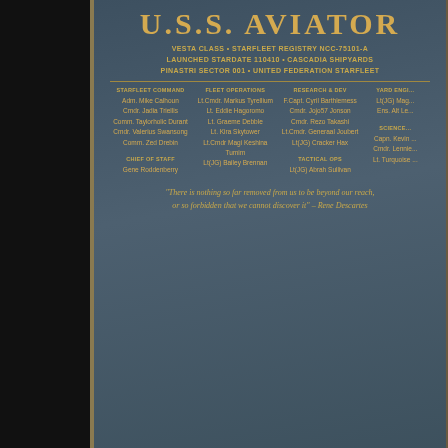[Figure (photo): U.S.S. Aviator starship dedication plaque, metallic blue-gray background with gold text. Shows ship name, registry, crew roster columns for Starfleet Command, Fleet Operations, Research & Dev, Yard Engineering, Science, Chief of Staff, and Tactical Ops. Bottom has an italic quote from Rene Descartes.]
First Contact
110119 Melonian
Ships Planetary Data Base
101106 PNX101106
110119 Melona
110319 Deraxon VII
110326 Deraxon VI
110401 Deraxon V
110402 Deraxon IV
110423 Deraxon III
110514 Deraxon II